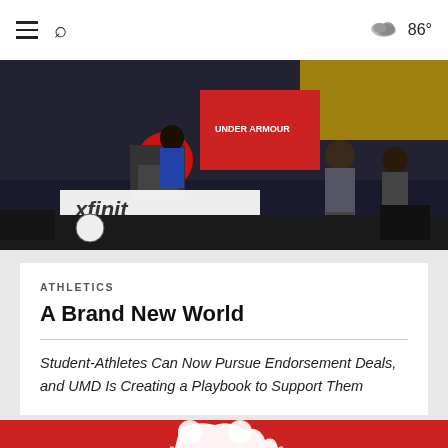☰ 🔍  86°
[Figure (photo): A press conference or announcement event on a stage. A person at a podium with a large 'M' logo and Under Armour branding, with 'xfinity' signage visible in the foreground. Two other people are seated on the stage.]
ATHLETICS
A Brand New World
Student-Athletes Can Now Pursue Endorsement Deals, and UMD Is Creating a Playbook to Support Them
[Figure (illustration): Colorful illustration on a red background featuring a large white silhouette of a bear mascot, athletes in sports uniforms, and product endorsement imagery including a cereal box (Chex) and other branded items.]